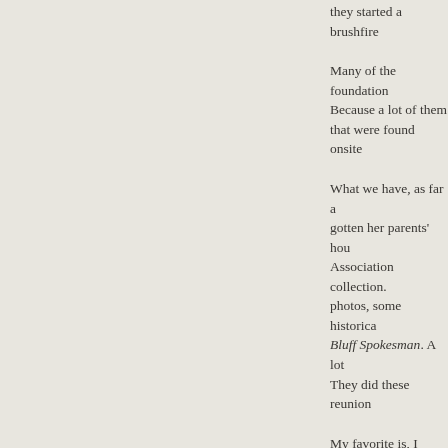they started a brushfire
Many of the foundation Because a lot of them that were found onsite
What we have, as far a gotten her parents' hou Association collection. photos, some historica Bluff Spokesman. A lot They did these reunion
My favorite is, I think, i amazing, because you if you were a part of th embodies, I think, their
It's interesting, becaus but there's one where And then, the next yea